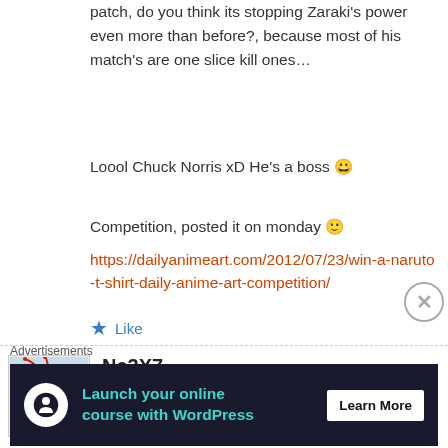patch, do you think its stopping Zaraki's power even more than before?, because most of his match's are one slice kill ones…
Loool Chuck Norris xD He's a boss 😀
Competition, posted it on monday 🙂
https://dailyanimeart.com/2012/07/23/win-a-naruto-t-shirt-daily-anime-art-competition/
Like
Ne3X7
July 25, 2012 at 5:16 pm
Advertisements
Launch your online course with WordPress Learn More